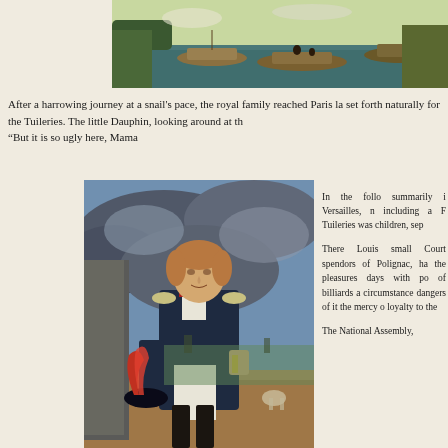[Figure (photo): Painting of boats on a river, likely near Paris, with trees and figures in background]
After a harrowing journey at a snail's pace, the royal family reached Paris la set forth naturally for the Tuileries. The little Dauphin, looking around at th “But it is so ugly here, Mama
[Figure (photo): Portrait painting of a young man in military uniform (dark blue coat with epaulettes, white breeches, tall boots) holding a plumed hat, standing outdoors with a cityscape behind him]
In the follo summarily i Versailles, n including a F Tuileries was children, sep

There Louis small Court spendors of Polignac, ha the pleasures days with po of billiards a circumstance dangers of it the mercy o loyalty to the

The National Assembly,